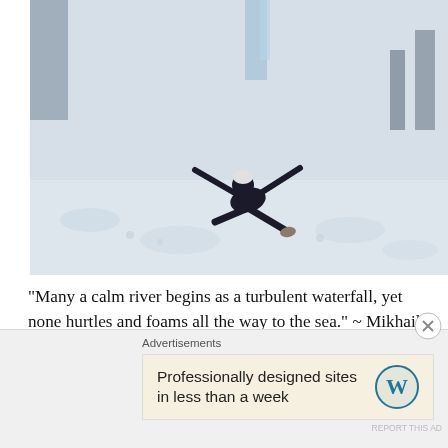[Figure (photo): Person in dark clothing and white hat sliding/playing in snow on a snowy hillside, arms outstretched, with snowy trees in background.]
"Many a calm river begins as a turbulent waterfall, yet none hurtles and foams all the way to the sea." ~ Mikhail Lermontov Growing up in the White Mountains, I hiked year round. Yes, even in the winter. What? Do I like torture? Nope not particularly. I get the trepidation of winter hiking; its cold, [...]
Advertisements
Professionally designed sites in less than a week